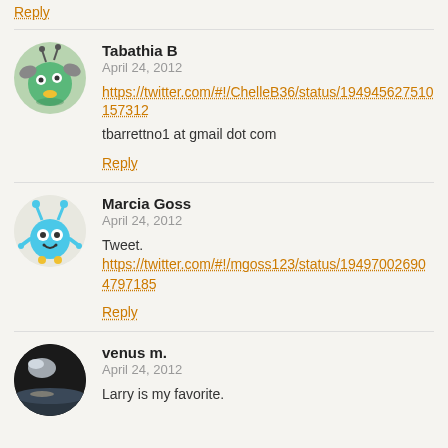Reply
Tabathia B
April 24, 2012
https://twitter.com/#!/ChelleB36/status/194945627510157312
tbarrettno1 at gmail dot com
Reply
Marcia Goss
April 24, 2012
Tweet.
https://twitter.com/#!/mgoss123/status/194970026904797185
Reply
venus m.
April 24, 2012
Larry is my favorite.